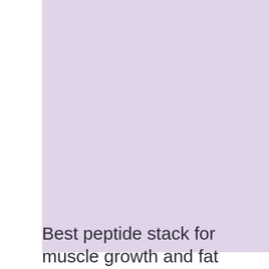[Figure (illustration): Large lavender/light purple rectangular block filling most of the upper portion of the page]
Best peptide stack for muscle growth and fat